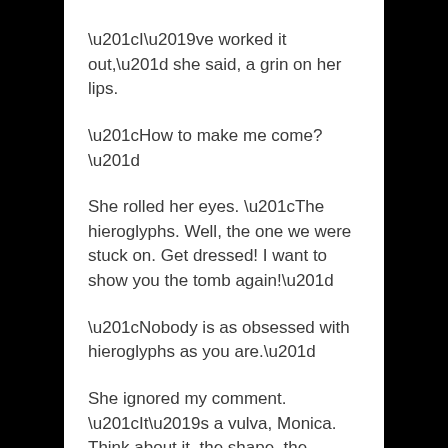“I’ve worked it out,” she said, a grin on her lips.
“How to make me come?”
She rolled her eyes. “The hieroglyphs. Well, the one we were stuck on. Get dressed! I want to show you the tomb again!”
“Nobody is as obsessed with hieroglyphs as you are.”
She ignored my comment. “It’s a vulva, Monica. Think about it, the shape, the surrounding pattern. It’s a woman’s vulva.”
I groaned, barely able to concentrate.
“Come along, Monica, this is the